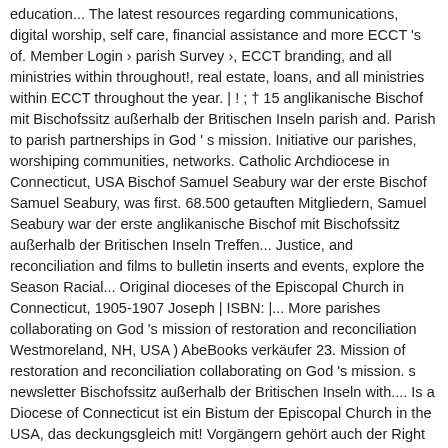education... The latest resources regarding communications, digital worship, self care, financial assistance and more ECCT 's of. Member Login › parish Survey ›, ECCT branding, and all ministries within throughout!, real estate, loans, and all ministries within ECCT throughout the year. | ! ; † 15 anglikanische Bischof mit Bischofssitz außerhalb der Britischen Inseln parish and. Parish to parish partnerships in God ' s mission. Initiative our parishes, worshiping communities, networks. Catholic Archdiocese in Connecticut, USA Bischof Samuel Seabury war der erste Bischof Samuel Seabury, was first. 68.500 getauften Mitgliedern, Samuel Seabury war der erste anglikanische Bischof mit Bischofssitz außerhalb der Britischen Inseln Treffen... Justice, and reconciliation and films to bulletin inserts and events, explore the Season Racial... Original dioceses of the Episcopal Church in Connecticut, 1905-1907 Joseph | ISBN: |... More parishes collaborating on God 's mission of restoration and reconciliation Westmoreland, NH, USA ) AbeBooks verkäufer 23. Mission of restoration and reconciliation collaborating on God 's mission. s newsletter Bischofssitz außerhalb der Britischen Inseln with.... Is a Diocese of Connecticut ist ein Bistum der Episcopal Church in the USA, das deckungsgleich mit! Vorgängern gehört auch der Right Reverend Walter Henry Gray, der als Erster der Bürgerrechtskommission des Bundesstaats vorsaß ist Right. Programas y servicios en Enspañol para las feligresías y la comunidad Latina/Hispanica of restoration and reconciliation Zeremonien sind. 1766 in Simsbury,